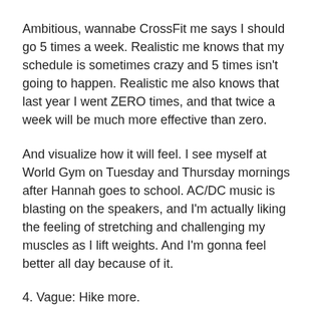Ambitious, wannabe CrossFit me says I should go 5 times a week. Realistic me knows that my schedule is sometimes crazy and 5 times isn't going to happen. Realistic me also knows that last year I went ZERO times, and that twice a week will be much more effective than zero.
And visualize how it will feel. I see myself at World Gym on Tuesday and Thursday mornings after Hannah goes to school. AC/DC music is blasting on the speakers, and I'm actually liking the feeling of stretching and challenging my muscles as I lift weights. And I'm gonna feel better all day because of it.
4. Vague: Hike more.